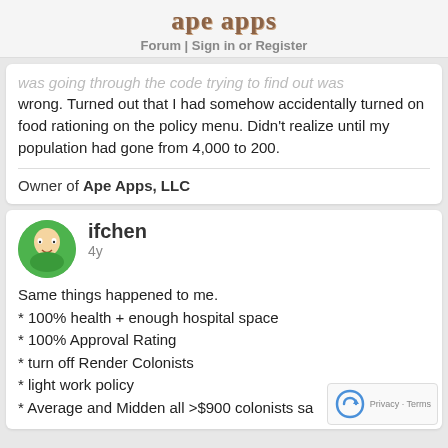ape apps
Forum | Sign in or Register
was going through the code trying to find out was wrong. Turned out that I had somehow accidentally turned on food rationing on the policy menu. Didn't realize until my population had gone from 4,000 to 200.
Owner of Ape Apps, LLC
ifchen
4y
Same things happened to me.
* 100% health + enough hospital space
* 100% Approval Rating
* turn off Render Colonists
* light work policy
* Average and Midden all >$900 colonists sa